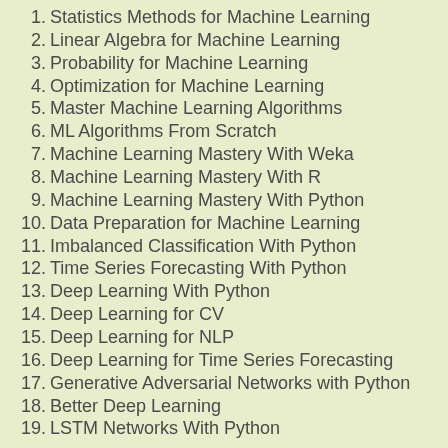1. Statistics Methods for Machine Learning
2. Linear Algebra for Machine Learning
3. Probability for Machine Learning
4. Optimization for Machine Learning
5. Master Machine Learning Algorithms
6. ML Algorithms From Scratch
7. Machine Learning Mastery With Weka
8. Machine Learning Mastery With R
9. Machine Learning Mastery With Python
10. Data Preparation for Machine Learning
11. Imbalanced Classification With Python
12. Time Series Forecasting With Python
13. Deep Learning With Python
14. Deep Learning for CV
15. Deep Learning for NLP
16. Deep Learning for Time Series Forecasting
17. Generative Adversarial Networks with Python
18. Better Deep Learning
19. LSTM Networks With Python